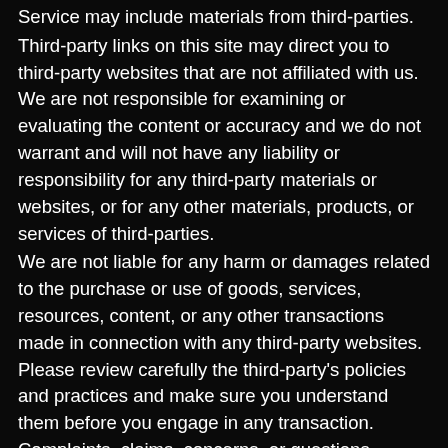Service may include materials from third-parties.
Third-party links on this site may direct you to third-party websites that are not affiliated with us. We are not responsible for examining or evaluating the content or accuracy and we do not warrant and will not have any liability or responsibility for any third-party materials or websites, or for any other materials, products, or services of third-parties.
We are not liable for any harm or damages related to the purchase or use of goods, services, resources, content, or any other transactions made in connection with any third-party websites. Please review carefully the third-party's policies and practices and make sure you understand them before you engage in any transaction. Complaints, claims, concerns, or questions regarding third-party products